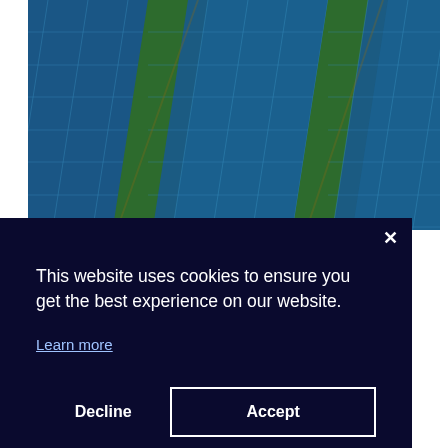[Figure (photo): Aerial view of rows of blue solar panels arranged diagonally on green grass, photographed from above]
This website uses cookies to ensure you get the best experience on our website.
Learn more
Decline
Accept
purchasing to catalyse decarbonisation efforts